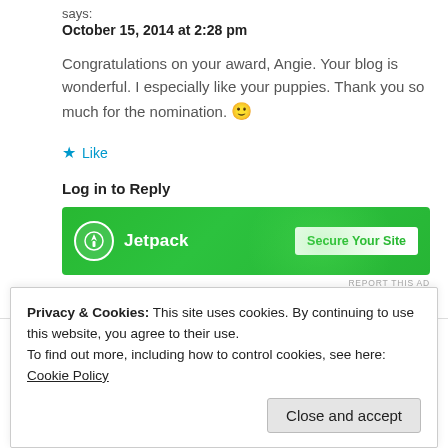says:
October 15, 2014 at 2:28 pm
Congratulations on your award, Angie. Your blog is wonderful. I especially like your puppies. Thank you so much for the nomination. 🙂
★ Like
Log in to Reply
[Figure (screenshot): Jetpack advertisement banner with green background showing Jetpack logo and 'Secure Your Site' button]
REPORT THIS AD
Privacy & Cookies: This site uses cookies. By continuing to use this website, you agree to their use.
To find out more, including how to control cookies, see here: Cookie Policy
Close and accept